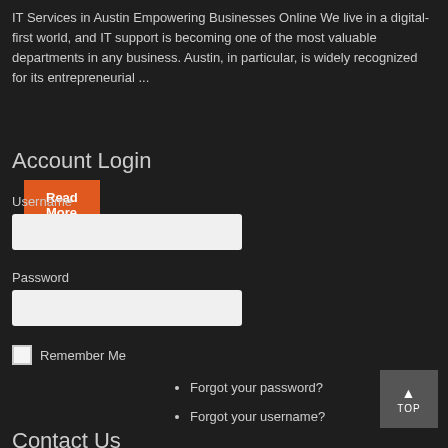IT Services in Austin Empowering Businesses Online We live in a digital-first world, and IT support is becoming one of the most valuable departments in any business. Austin, in particular, is widely recognized for its entrepreneurial ...
Read More
Account Login
Username
Password
Remember Me
Log in
Forgot your password?
Forgot your username?
TOP
Contact Us